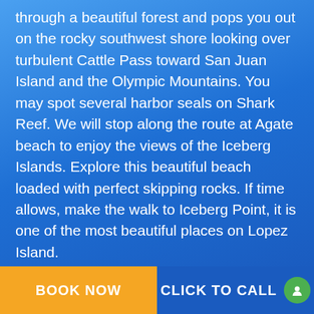through a beautiful forest and pops you out on the rocky southwest shore looking over turbulent Cattle Pass toward San Juan Island and the Olympic Mountains. You may spot several harbor seals on Shark Reef. We will stop along the route at Agate beach to enjoy the views of the Iceberg Islands. Explore this beautiful beach loaded with perfect skipping rocks. If time allows, make the walk to Iceberg Point, it is one of the most beautiful places on Lopez Island.

To finish the bike route, we head north, through the center of Lopez Island to Spencer Spit. Here you will find a state park with a
BOOK NOW
CLICK TO CALL